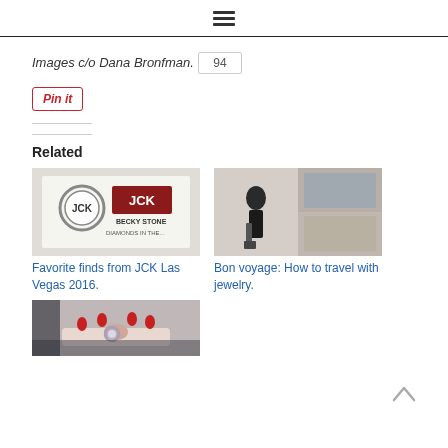≡
Images c/o Dana Bronfman.
94
[Figure (other): Pin it button]
Related
[Figure (photo): JCK Las Vegas badge showing Becky Stone, Diamonds in the...]
Favorite finds from JCK Las Vegas 2016.
[Figure (photo): Collage of travel photos with person holding luggage]
Bon voyage: How to travel with jewelry.
[Figure (photo): Hand with ring and red nails on decorative fabric]